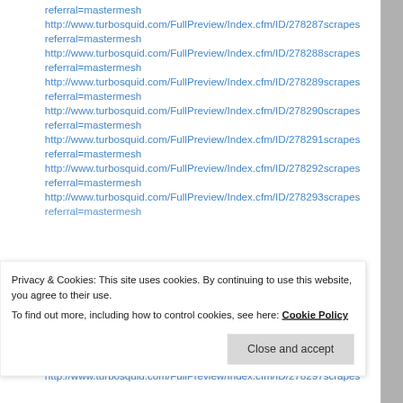referral=mastermesh
http://www.turbosquid.com/FullPreview/Index.cfm/ID/278287scrapes referral=mastermesh
http://www.turbosquid.com/FullPreview/Index.cfm/ID/278288scrapes referral=mastermesh
http://www.turbosquid.com/FullPreview/Index.cfm/ID/278289scrapes referral=mastermesh
http://www.turbosquid.com/FullPreview/Index.cfm/ID/278290scrapes referral=mastermesh
http://www.turbosquid.com/FullPreview/Index.cfm/ID/278291scrapes referral=mastermesh
http://www.turbosquid.com/FullPreview/Index.cfm/ID/278292scrapes referral=mastermesh
http://www.turbosquid.com/FullPreview/Index.cfm/ID/278293scrapes referral=mastermesh
http://www.turbosquid.com/FullPreview/Index.cfm/ID/278297scrapes
Privacy & Cookies: This site uses cookies. By continuing to use this website, you agree to their use.
To find out more, including how to control cookies, see here: Cookie Policy
Close and accept